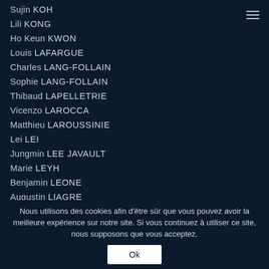Sujin KOH
Lili KONG
Ho Keun KWON
Louis LAFARGUE
Charles LANG-FOLLAIN
Sophie LANG-FOLLAIN
Thibaud LAPELLETRIE
Vicenzo LAROCCA
Matthieu LAROUSSINIE
Lei LEI
Jungmin LEE JAVAULT
Marie LEYH
Benjamin LEONE
Augustin LIAGRE
Domenico LO RITO
Dji-Ming LUK
Eric LUONG
Orianne MADINIER
Julia MAINENTI
Nous utilisons des cookies afin d'être sûr que vous pouvez avoir la meilleure expérience sur notre site. Si vous continuez à utiliser ce site, nous supposons que vous acceptez.